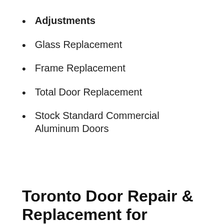Adjustments
Glass Replacement
Frame Replacement
Total Door Replacement
Stock Standard Commercial Aluminum Doors
Toronto Door Repair & Replacement for